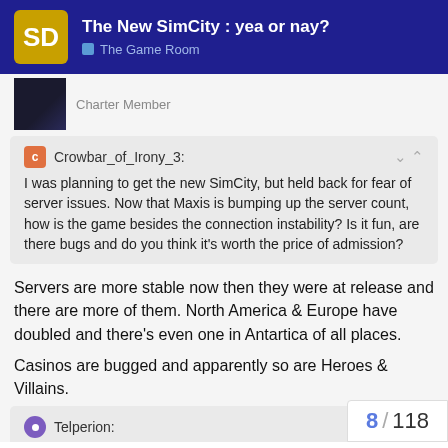The New SimCity : yea or nay? — The Game Room
Charter Member
Crowbar_of_Irony_3: I was planning to get the new SimCity, but held back for fear of server issues. Now that Maxis is bumping up the server count, how is the game besides the connection instability? Is it fun, are there bugs and do you think it's worth the price of admission?
Servers are more stable now then they were at release and there are more of them. North America & Europe have doubled and there's even one in Antartica of all places.
Casinos are bugged and apparently so are Heroes & Villains.
Telperion: there's really no reason it couldn't be pla...
8 / 118